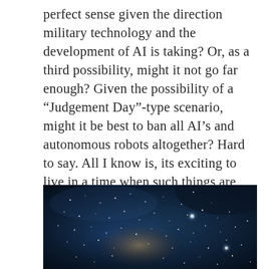perfect sense given the direction military technology and the development of AI is taking? Or, as a third possibility, might it not go far enough? Given the possibility of a “Judgement Day”-type scenario, might it be best to ban all AI’s and autonomous robots altogether? Hard to say. All I know is, its exciting to live in a time when such things are being seriously contemplated, and are not merely restricted to the realm of science fiction.
[Figure (photo): Close-up photograph of a human eye or eye-like surface with swirling dark blue tones, scattered glowing white spots resembling stars or light reflections, and warm orange-brown hues in the lower center, creating a galaxy or nebula-like appearance.]